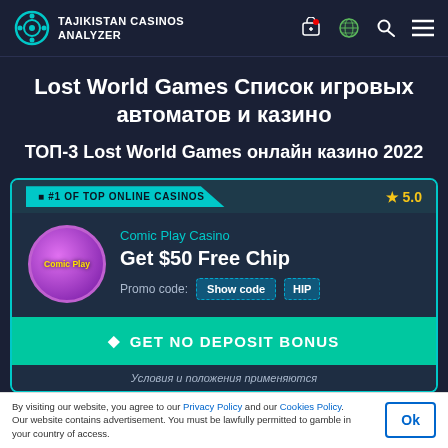TAJIKISTAN CASINOS ANALYZER
Lost World Games Список игровых автоматов и казино
ТОП-3 Lost World Games онлайн казино 2022
#1 OF TOP ONLINE CASINOS  ★ 5.0
Comic Play Casino
Get $50 Free Chip
Promo code: Show code HIP
GET NO DEPOSIT BONUS
Условия и положения применяются
By visiting our website, you agree to our Privacy Policy and our Cookies Policy. Our website contains advertisement. You must be lawfully permitted to gamble in your country of access.